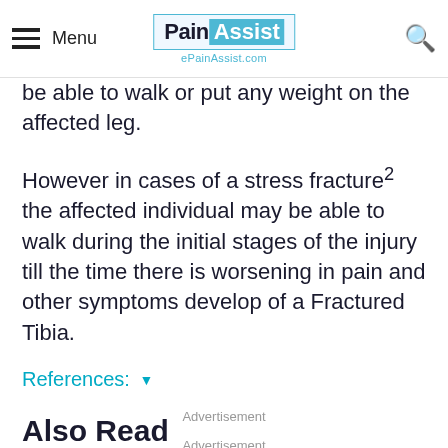Menu | PainAssist ePainAssist.com | Search
be able to walk or put any weight on the affected leg.
However in cases of a stress fracture2 the affected individual may be able to walk during the initial stages of the injury till the time there is worsening in pain and other symptoms develop of a Fractured Tibia.
References: ▾
Advertisement
Advertisement
Also Read